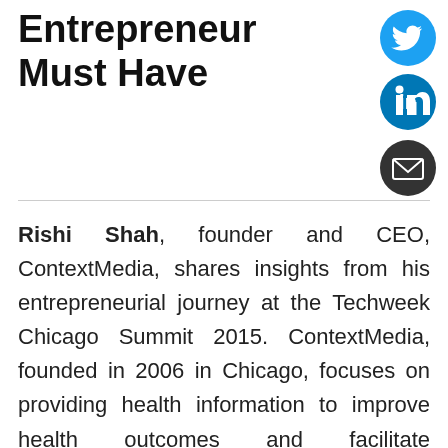Entrepreneur Must Have
[Figure (illustration): Twitter bird icon in blue circle]
[Figure (illustration): LinkedIn 'in' icon in blue circle]
[Figure (illustration): Email envelope icon in dark circle]
Rishi Shah, founder and CEO, ContextMedia, shares insights from his entrepreneurial journey at the Techweek Chicago Summit 2015. ContextMedia, founded in 2006 in Chicago, focuses on providing health information to improve health outcomes and facilitate communication between patients and their physicians